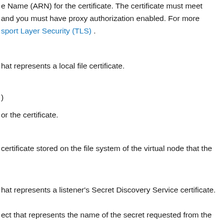e Name (ARN) for the certificate. The certificate must meet and you must have proxy authorization enabled. For more sport Layer Security (TLS) .
hat represents a local file certificate.
)
or the certificate.
certificate stored on the file system of the virtual node that the
hat represents a listener's Secret Discovery Service certificate.
ect that represents the name of the secret requested from the